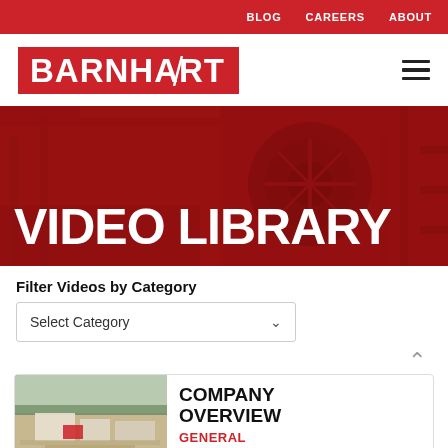BLOG  CAREERS  ABOUT
[Figure (logo): Barnhart company logo — white text on red background rectangle]
VIDEO LIBRARY
Filter Videos by Category
Select Category
[Figure (screenshot): Thumbnail of construction/industrial site aerial view]
COMPANY OVERVIEW
GENERAL